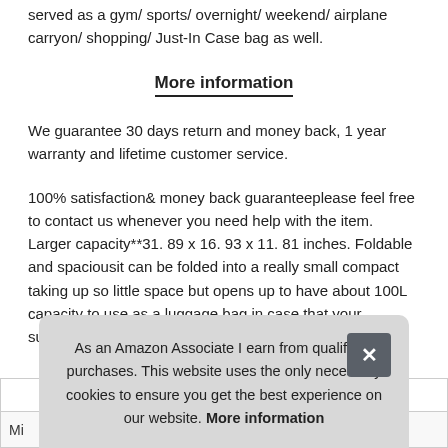served as a gym/ sports/ overnight/ weekend/ airplane carryon/ shopping/ Just-In Case bag as well.
More information
We guarantee 30 days return and money back, 1 year warranty and lifetime customer service.
100% satisfaction& money back guaranteeplease feel free to contact us whenever you need help with the item. Larger capacity**31. 89 x 16. 93 x 11. 81 inches. Foldable and spaciousit can be folded into a really small compact taking up so little space but opens up to have about 100L capacity to use as a luggage bag in case that your suitcase swells
As an Amazon Associate I earn from qualifying purchases. This website uses the only necessary cookies to ensure you get the best experience on our website. More information